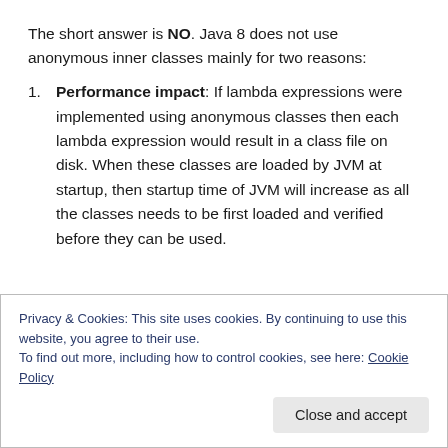The short answer is NO. Java 8 does not use anonymous inner classes mainly for two reasons:
Performance impact: If lambda expressions were implemented using anonymous classes then each lambda expression would result in a class file on disk. When these classes are loaded by JVM at startup, then startup time of JVM will increase as all the classes needs to be first loaded and verified before they can be used.
Privacy & Cookies: This site uses cookies. By continuing to use this website, you agree to their use.
To find out more, including how to control cookies, see here: Cookie Policy